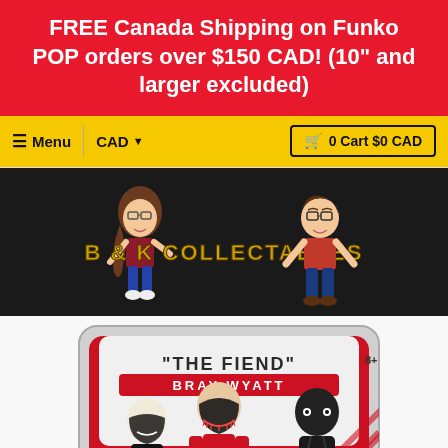FREE Canada Shipping on Funko POP orders over $150 CAD! (10" and larger excluded)
≡ Menu  |  CAD ▾  |  🛒 0 Cart $0 CAD
[Figure (logo): B & K Collectables logo with two cartoon characters flanking stylized gold text on a dark background]
[Figure (photo): The Fiend Bray Wyatt WWE action figure set in box, showing multiple figures including masked characters in black and red outfits, box labeled 8+]